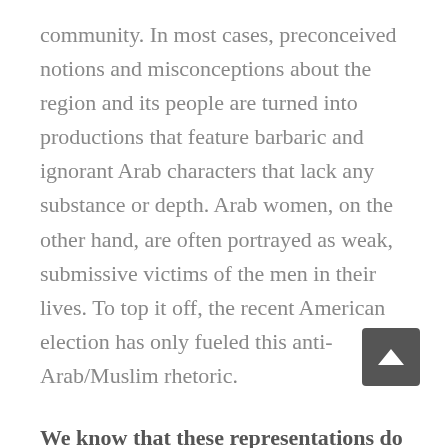community. In most cases, preconceived notions and misconceptions about the region and its people are turned into productions that feature barbaric and ignorant Arab characters that lack any substance or depth. Arab women, on the other hand, are often portrayed as weak, submissive victims of the men in their lives. To top it off, the recent American election has only fueled this anti-Arab/Muslim rhetoric.
We know that these representations do not reflect the reality of the Arab and Arab American community. In fact, years ago, we started the Arab Film Festival